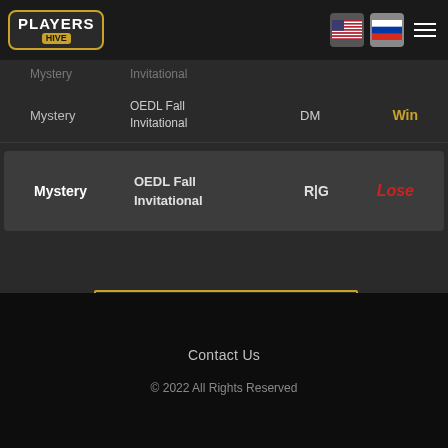[Figure (logo): Players Hive logo - white text on dark background with gold border]
Mystery  Invitational
Mystery  OEDL Fall Invitational  DM  Win
| Team | Tournament | Mode | Result |
| --- | --- | --- | --- |
| Mystery | OEDL Fall
Invitational | R|G | Lose |
Load More
Contact Us
© 2022 All Rights Reserved